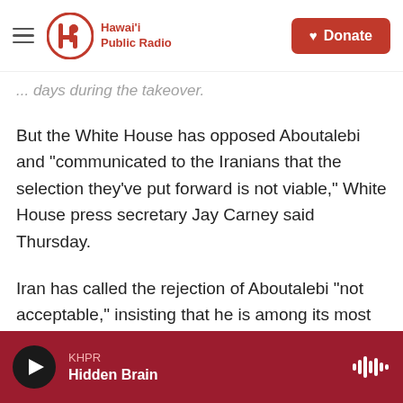Hawai'i Public Radio — Donate
... days during the takeover.
But the White House has opposed Aboutalebi and "communicated to the Iranians that the selection they've put forward is not viable," White House press secretary Jay Carney said Thursday.
Iran has called the rejection of Aboutalebi "not acceptable," insisting that he is among its most able diplomats and that international protocols would be thwarted if the U.S. denied him entry to take up his post at United Nations headquarters in New York.
KHPR — Hidden Brain